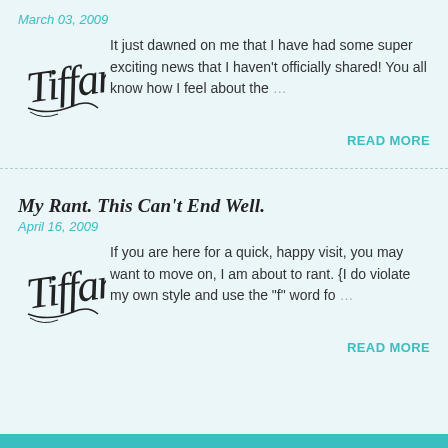March 03, 2009
[Figure (illustration): Handwritten cursive signature reading 'Tiffany']
It just dawned on me that I have had some super exciting news that I haven't officially shared! You all know how I feel about the …
READ MORE
My Rant. This Can't End Well.
April 16, 2009
[Figure (illustration): Handwritten cursive signature reading 'Tiffany']
If you are here for a quick, happy visit, you may want to move on, I am about to rant. {I do violate my own style and use the "f" word fo …
READ MORE